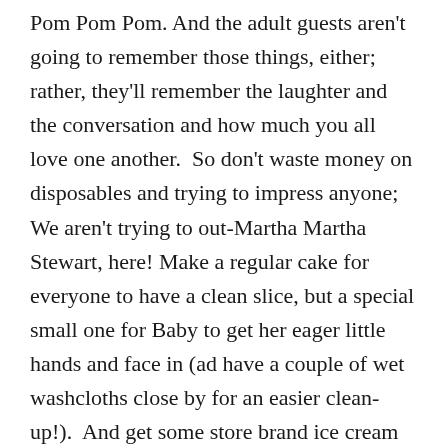Pom Pom Pom. And the adult guests aren't going to remember those things, either; rather, they'll remember the laughter and the conversation and how much you all love one another.  So don't waste money on disposables and trying to impress anyone; We aren't trying to out-Martha Martha Stewart, here! Make a regular cake for everyone to have a clean slice, but a special small one for Baby to get her eager little hands and face in (ad have a couple of wet washcloths close by for an easier clean-up!).  And get some store brand ice cream to go along with it.  Maybe some nuts or mints. And serve it in your real bowls, even if washing them will take five extra minutes, instead of using disposables, because the people you love are worthy of your “good dishes” even for a baby’s first birthday.